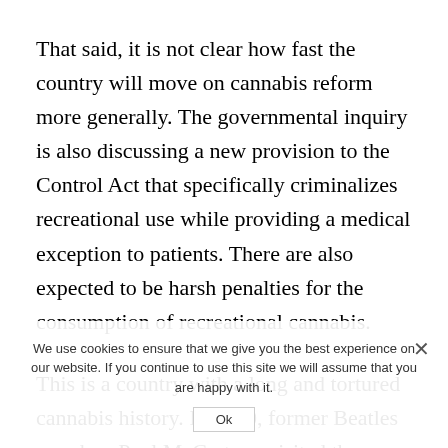That said, it is not clear how fast the country will move on cannabis reform more generally. The governmental inquiry is also discussing a new provision to the Control Act that specifically criminalizes recreational use while providing a medical exception to patients. There are also expected to be harsh penalties for the consumption of recreational cannabis.
This is a country with a long and tortured cannabis history. In 1980, former Beatles member, Paul McCartney visited the country with about 8 ounces in his possession. He was subsequently banned from the country for 11 years.
The government also made national headlines in 2018, clearly targeting Japanese nationals living in North America when it forbade its ex-pat citizens to
We use cookies to ensure that we give you the best experience on our website. If you continue to use this site we will assume that you are happy with it.